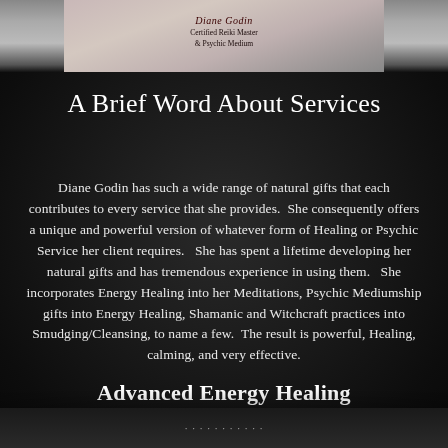[Figure (photo): Partial photo of Diane Godin, Certified Reiki Master & Psychic Medium, showing hands raised, against a light background, partially cut off at top of page]
A Brief Word About Services
Diane Godin has such a wide range of natural gifts that each contributes to every service that she provides.  She consequently offers a unique and powerful version of whatever form of Healing or Psychic Service her client requires.   She has spent a lifetime developing her natural gifts and has tremendous experience in using them.   She incorporates Energy Healing into her Meditations, Psychic Mediumship gifts into Energy Healing, Shamanic and Witchcraft practices into Smudging/Cleansing, to name a few.  The result is powerful, Healing, calming, and very effective.
Advanced Energy Healing